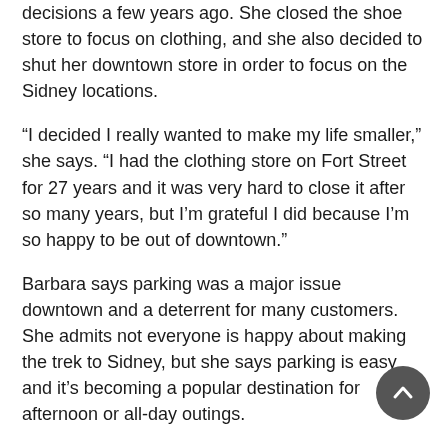decisions a few years ago. She closed the shoe store to focus on clothing, and she also decided to shut her downtown store in order to focus on the Sidney locations.
“I decided I really wanted to make my life smaller,” she says. “I had the clothing store on Fort Street for 27 years and it was very hard to close it after so many years, but I’m grateful I did because I’m so happy to be out of downtown.”
Barbara says parking was a major issue downtown and a deterrent for many customers. She admits not everyone is happy about making the trek to Sidney, but she says parking is easy and it’s becoming a popular destination for afternoon or all-day outings.
“I say, bring out your survival gear and come out to Sidney and have a nice lunch and do your shopping on Beacon